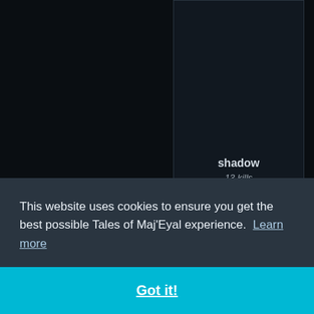[Figure (screenshot): Game leaderboard card for player 'shadow' with 13 kills, dark background]
shadow
13 kills
[Figure (screenshot): Game leaderboard card for player 'RODRIGUEZ' with 12 kills and a glowing question mark avatar, dark background]
RODRIGUEZ
12 kills
This website uses cookies to ensure you get the best possible Tales of Maj'Eyal experience. Learn more
Got it!